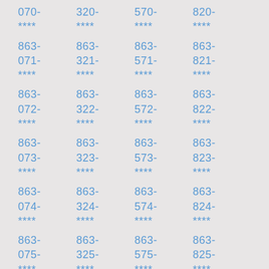070-
****
863-
071-
****
863-
072-
****
863-
073-
****
863-
074-
****
863-
075-
****
863-
320-
****
863-
321-
****
863-
322-
****
863-
323-
****
863-
324-
****
863-
325-
****
863-
570-
****
863-
571-
****
863-
572-
****
863-
573-
****
863-
574-
****
863-
575-
****
863-
820-
****
863-
821-
****
863-
822-
****
863-
823-
****
863-
824-
****
863-
825-
****
863-